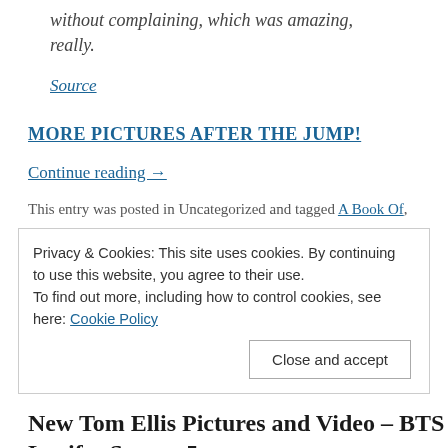without complaining, which was amazing, really.
Source
MORE PICTURES AFTER THE JUMP!
Continue reading →
This entry was posted in Uncategorized and tagged A Book Of,
Privacy & Cookies: This site uses cookies. By continuing to use this website, you agree to their use. To find out more, including how to control cookies, see here: Cookie Policy
New Tom Ellis Pictures and Video – BTS Lucifer Season 5